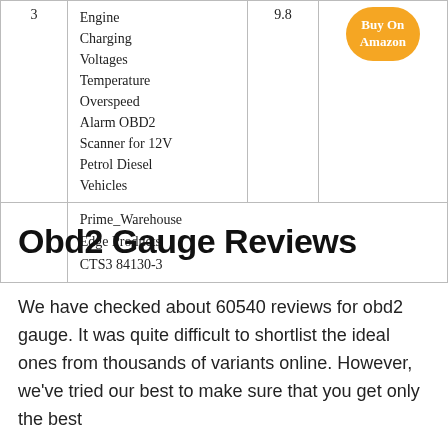| # | Product Name | Score |  |
| --- | --- | --- | --- |
| 3 | Engine Charging Voltages Temperature Overspeed Alarm OBD2 Scanner for 12V Petrol Diesel Vehicles | 9.8 | Buy On Amazon |
|  | Prime_Warehouse Edge Products CTS3 84130-3 |  |  |
Obd2 Gauge Reviews
We have checked about 60540 reviews for obd2 gauge. It was quite difficult to shortlist the ideal ones from thousands of variants online. However, we've tried our best to make sure that you get only the best